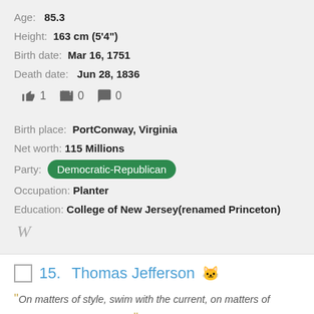Age: 85.3
Height: 163 cm (5'4")
Birth date: Mar 16, 1751
Death date: Jun 28, 1836
👍 1  👎 0  💬 0
Birth place: PortConway, Virginia
Net worth: 115 Millions
Party: Democratic-Republican
Occupation: Planter
Education: College of New Jersey(renamed Princeton)
W (Wikipedia icon)
15. Thomas Jefferson 🐱
"On matters of style, swim with the current, on matters of principle, stand like a rock."